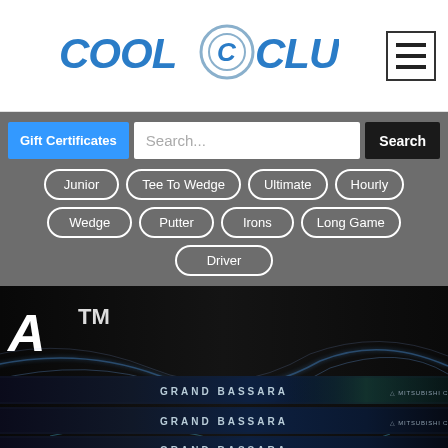[Figure (logo): Cool Clubs logo with stylized C emblem and wordmark]
Gift Certificates
Search...
Search
Junior
Tee To Wedge
Ultimate
Hourly
Wedge
Putter
Irons
Long Game
Driver
[Figure (photo): Three Grand Bassara golf shafts by Mitsubishi Chemical with glowing blue and green light effects on dark background, with 'A TM' text visible on left]
ULTRA-LIGHTWEI...